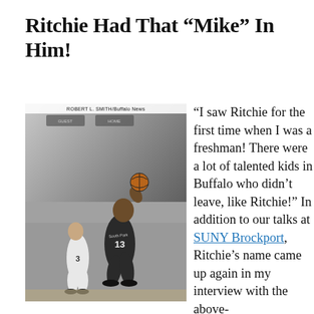Ritchie Had That “Mike” In Him!
[Figure (photo): Black and white newspaper photograph of a basketball player wearing jersey number 13, shooting or going up for a shot. Another player wearing number 3 is visible. Photo credited to ROBERT L. SMITH/Buffalo News.]
“I saw Ritchie for the first time when I was a freshman! There were a lot of talented kids in Buffalo who didn’t leave, like Ritchie!” In addition to our talks at SUNY Brockport, Ritchie’s name came up again in my interview with the above-